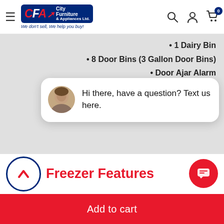City Furniture & Appliances Ltd. — We don't sell, We help you buy!
• 1 Dairy Bin
• 8 Door Bins (3 Gallon Door Bins)
• Door Ajar Alarm
• High-Temperature Alarm
• Power Failurr
Hi there, have a question? Text us here.
Freezer Features
Add to cart